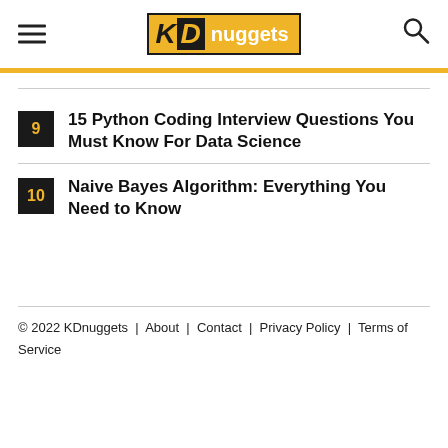KDnuggets
9  15 Python Coding Interview Questions You Must Know For Data Science
10  Naive Bayes Algorithm: Everything You Need to Know
© 2022 KDnuggets  |  About  |  Contact  |  Privacy Policy  |  Terms of Service